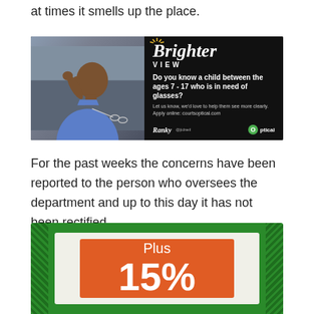at times it smells up the place.
[Figure (illustration): Advertisement banner for Brighter View optical program. Left half shows a young boy in a blue shirt holding glasses. Right half on black background shows 'Brighter View' in script, text asking 'Do you know a child between the ages 7 - 17 who is in need of glasses? Let us know, we'd love to help them see more clearly. Apply online: courtsoptical.com' with logos.]
For the past weeks the concerns have been reported to the person who oversees the department and up to this day it has not been rectified.
[Figure (illustration): Advertisement banner with green background containing a white inner panel with an orange rectangle showing 'Plus 15%' in white text.]